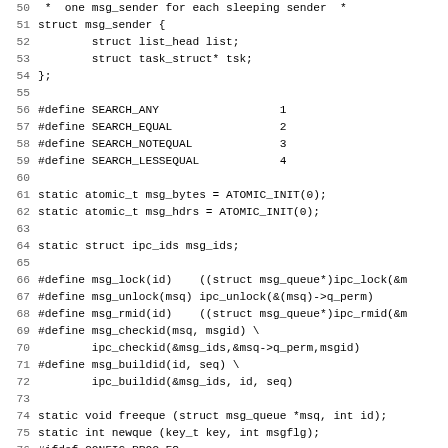C source code listing lines 50-82, showing struct msg_sender definition, #define macros for SEARCH_ANY/EQUAL/NOTEQUAL/LESSEQUAL, atomic_t variables, ipc_ids, msg_lock/unlock/rmid/checkid/buildid macros, static function declarations, and void __init msg_init function